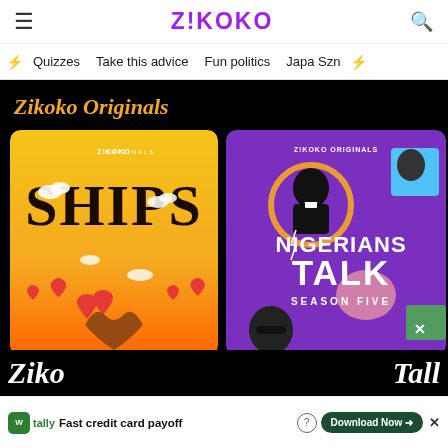ZIKOKO
Quizzes  Take this advice  Fun politics  Japa Szn
Zikoko Originals
[Figure (illustration): SHIPS podcast cover art on yellow/orange gradient background with hearts and hands forming heart shape, ZIKOKO ORIGINALS label at top]
[Figure (illustration): NIGERIANS TALK SEASON FIVE podcast cover art on purple background with figures in collage style, ZIKOKO ORIGINALS label at top]
Ziko ... Tall
[Figure (screenshot): Tally advertisement banner: Fast credit card payoff, Download Now button]